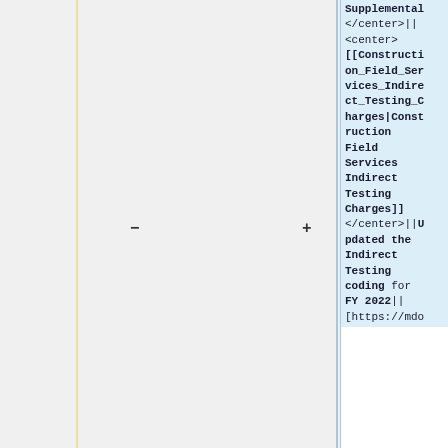Supplemental </center>|| <center> [[Construction_Field_Services_Indirect_Testing_Charges|Construction Field Services Indirect Testing Charges]] </center>||Updated the Indirect Testing coding for FY 2022|| [https://mdo